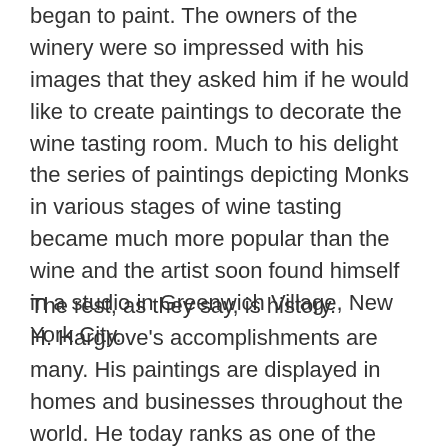began to paint. The owners of the winery were so impressed with his images that they asked him if he would like to create paintings to decorate the wine tasting room. Much to his delight the series of paintings depicting Monks in various stages of wine tasting became much more popular than the wine and the artist soon found himself in a studio in Greenwich Village, New York City.
The rest, as they say, is history. H. Hargrove's accomplishments are many. His paintings are displayed in homes and businesses throughout the world. He today ranks as one of the country's most-collected and renowned living artists. H. Hargrove was honored to create a commemorative painting for the centennial Olympic Games. "From Athens to Atlanta" is one of the artists most celebrated works. H. Hargrove was again honored to create a work